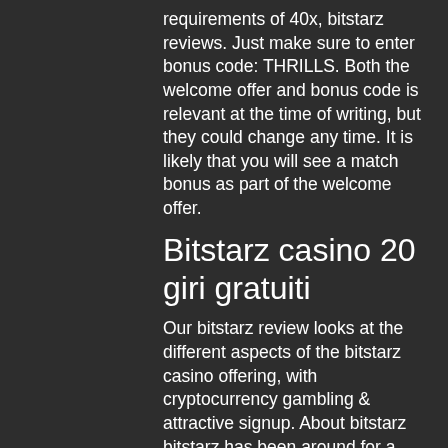requirements of 40x, bitstarz reviews. Just make sure to enter bonus code: THRILLS. Both the welcome offer and bonus code is relevant at the time of writing, but they could change any time. It is likely that you will see a match bonus as part of the welcome offer.
Bitstarz casino 20 giri gratuiti
Our bitstarz review looks at the different aspects of the bitstarz casino offering, with cryptocurrency gambling &amp; attractive signup. About bitstarz bitstarz has been around for a while, but it's really starting to find its stride in 2019. It initially launched as a. Казино bitstarz - отзывы игроков и подробный обзор официального сайта. Bitstarz casino предлагает своим пользователям игру на криптовалюты, что,. So today, we'll take a look at the bonuses, promotions, and services that the